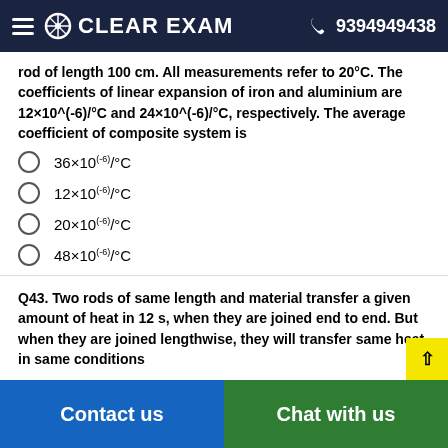CLEAR EXAM  9394949438
rod of length 100 cm. All measurements refer to 20°C. The coefficients of linear expansion of iron and aluminium are 12×10^(-6)/°C and 24×10^(-6)/°C, respectively. The average coefficient of composite system is
36×10^(-6)/°C
12×10^(-6)/°C
20×10^(-6)/°C
48×10^(-6)/°C
Q43. Two rods of same length and material transfer a given amount of heat in 12 s, when they are joined end to end. But when they are joined lengthwise, they will transfer same heat in same conditions
Contact us   Chat with us